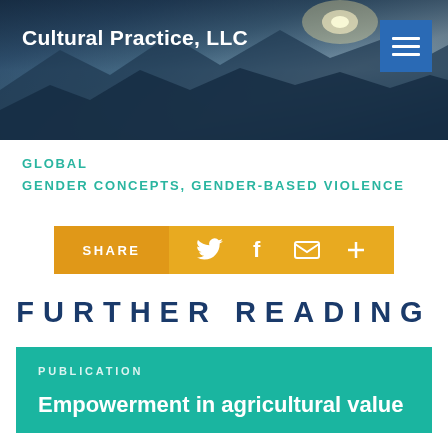Cultural Practice, LLC
GLOBAL
GENDER CONCEPTS, GENDER-BASED VIOLENCE
SHARE
FURTHER READING
PUBLICATION
Empowerment in agricultural value